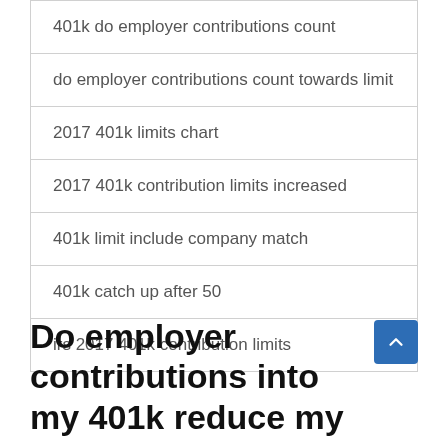401k do employer contributions count
do employer contributions count towards limit
2017 401k limits chart
2017 401k contribution limits increased
401k limit include company match
401k catch up after 50
irs 2017 401k contribution limits
Do employer contributions into my 401k reduce my